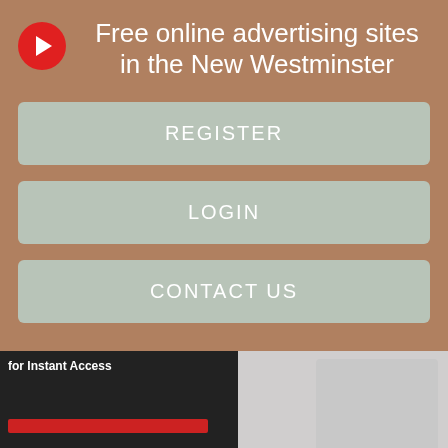Free online advertising sites in the New Westminster
REGISTER
LOGIN
CONTACT US
[Figure (screenshot): Thumbnail image with text 'for Instant Access' on dark background with red bar]
Submit an event. Style Weekly's mission is to provide smart, witty and tenacious coverage of Richmond. Our editorial team Richmond gay Richmond player to reveal Richmond's true identity, then...